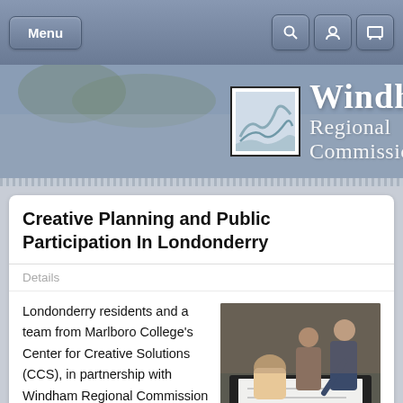Menu | Search | User | Display icons
[Figure (logo): Windham Regional Commission website header banner with logo image showing a river landscape and the text 'Windham Regional Commission']
Creative Planning and Public Participation In Londonderry
Details
[Figure (photo): People gathered around a table looking at a map or plan, pointing at it during a planning workshop]
Londonderry residents and a team from Marlboro College's Center for Creative Solutions (CCS), in partnership with Windham Regional Commission explored how to best use soon to be town owned properties severely damaged by flooding from Tropical Storm Irene. Participants in the six-day planning workshop held in early August generated